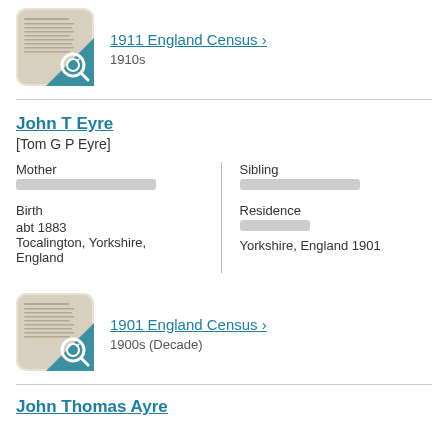[Figure (illustration): Thumbnail image of a census document with a teal magnifying glass icon overlay]
1911 England Census >
1910s
John T Eyre
[Tom G P Eyre]
Mother
[redacted]
Birth
abt 1883
Tocalington, Yorkshire, England
Sibling
[redacted]
Residence
[redacted]
Yorkshire, England 1901
[Figure (illustration): Thumbnail image of a census document with a teal magnifying glass icon overlay]
1901 England Census >
1900s (Decade)
John Thomas Ayre